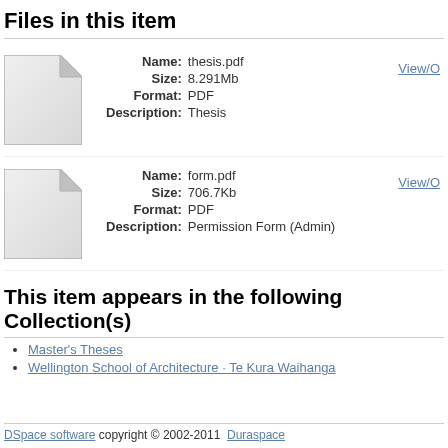Files in this item
Name: thesis.pdf
Size: 8.291Mb
Format: PDF
Description: Thesis
View/O
Name: form.pdf
Size: 706.7Kb
Format: PDF
Description: Permission Form (Admin)
View/O
This item appears in the following Collection(s)
Master's Theses
Wellington School of Architecture · Te Kura Waihanga
DSpace software copyright © 2002-2011  Duraspace